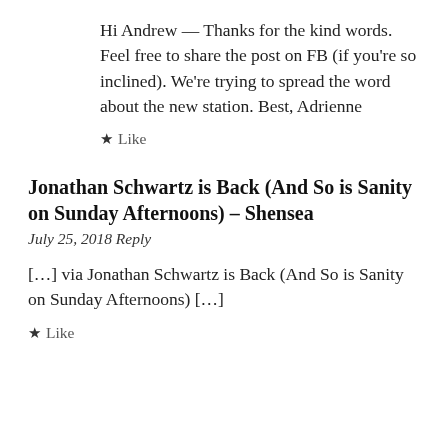Hi Andrew — Thanks for the kind words. Feel free to share the post on FB (if you're so inclined). We're trying to spread the word about the new station. Best, Adrienne
★ Like
Jonathan Schwartz is Back (And So is Sanity on Sunday Afternoons) – Shensea
July 25, 2018 Reply
[…] via Jonathan Schwartz is Back (And So is Sanity on Sunday Afternoons) […]
★ Like